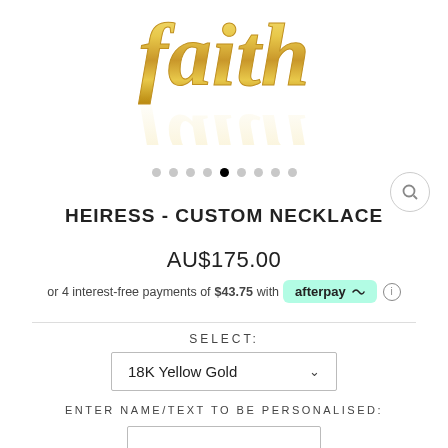[Figure (photo): Gold script necklace charm with cursive lettering, showing partial word with reflection below, on white background]
[Figure (other): Image carousel navigation dots, 9 dots total with 5th dot filled black (active)]
HEIRESS - CUSTOM NECKLACE
AU$175.00
or 4 interest-free payments of $43.75 with afterpay
SELECT:
18K Yellow Gold
ENTER NAME/TEXT TO BE PERSONALISED: